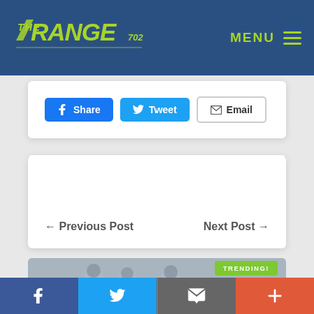[Figure (logo): The Range 702 logo in yellow-green on dark blue header background]
MENU
Share  Tweet  Email
← Previous Post    Next Post →
[Figure (photo): Shooting range photo with target silhouettes and a handgun in foreground, TRENDING! label overlay]
[Figure (infographic): Bottom social share bar with Facebook, Twitter, Email, and Plus buttons]